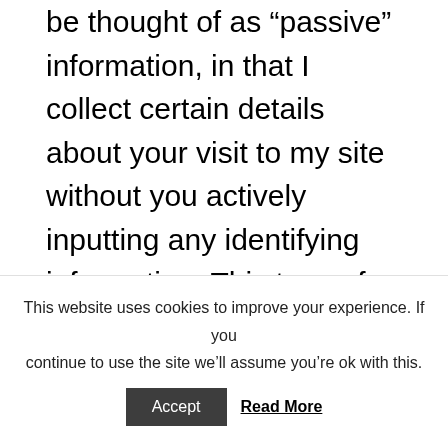be thought of as “passive” information, in that I collect certain details about your visit to my site without you actively inputting any identifying information. This type of passive information that I collect may include one or more of the following types of information (“Data”): your Internet Protocol (IP) address; the name of the domain name from which you access the Internet; the IP address of the Website
This website uses cookies to improve your experience. If you continue to use the site we’ll assume you’re ok with this.